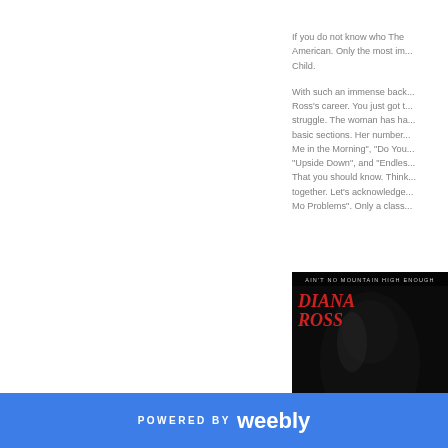If you do not know who The Supremes are, you are not American. Only the most im... Child.

With such an immense back... Ross's career. You just got t... struggle. The woman has ha... basic sections. Her number... Me in the Morning", "Do You... "Upside Down", and "Endles... That you should know. Think... together. Let's acknowledge... Mo Problems". Only a class...
[Figure (photo): Album cover for Diana Ross 'Ain't No Mountain High Enough' showing Diana Ross in a dark, artistic portrait with the album title at the top and artist name in red italic text]
POWERED BY weebly